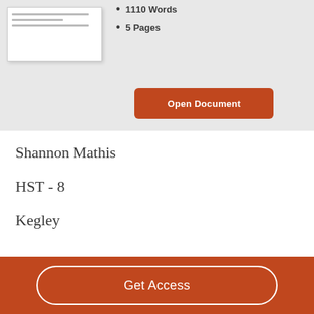1110 Words
5 Pages
Open Document
Shannon Mathis
HST - 8
Kegley
Get Access